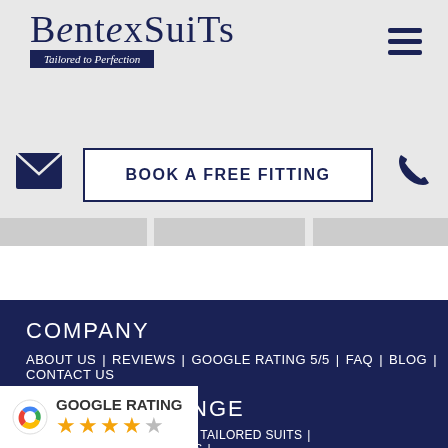[Figure (logo): BentexSuits logo with 'Tailored to Perfection' tagline on dark navy banner]
[Figure (other): Hamburger menu icon (three horizontal lines)]
[Figure (other): Email envelope icon]
BOOK A FREE FITTING
[Figure (other): Phone handset icon]
COMPANY
ABOUT US | REVIEWS | GOOGLE RATING 5/5 | FAQ | BLOG | CONTACT US
PRODUCT RANGE
SUITS | 3PC SUITS | MEN'S TAILORED SUITS | ...(COAST) | BUSINESS SUITS |
[Figure (other): Google Rating badge with 4 orange stars and Google logo]